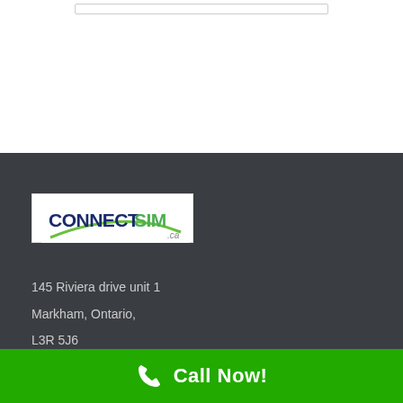[Figure (logo): ConnectSIM.ca logo with dark blue 'CONNECT' and green 'SIM' text with a green swoosh arc, on white background]
145 Riviera drive unit 1
Markham, Ontario,
L3R 5J6
Phone: 416 848 6212
Call Now!